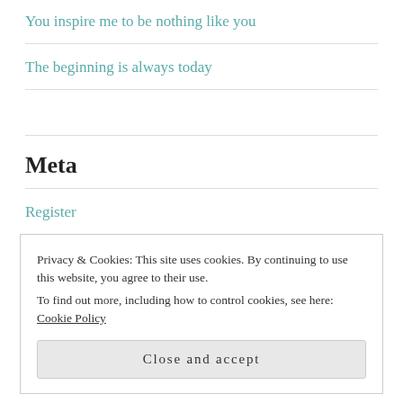You inspire me to be nothing like you
The beginning is always today
Meta
Register
Log in
Entries feed
Privacy & Cookies: This site uses cookies. By continuing to use this website, you agree to their use.
To find out more, including how to control cookies, see here: Cookie Policy
Close and accept